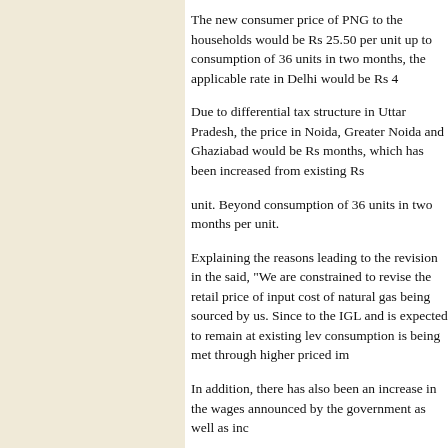The new consumer price of PNG to the households would be Rs 25.50 per unit up to consumption of 36 units in two months, the applicable rate in Delhi would be Rs 4...
Due to differential tax structure in Uttar Pradesh, the price in Noida, Greater Noida and Ghaziabad would be Rs ... months, which has been increased from existing Rs...
unit. Beyond consumption of 36 units in two months... per unit.
Explaining the reasons leading to the revision in the... said, "We are constrained to revise the retail price of... input cost of natural gas being sourced by us. Since... to the IGL and is expected to remain at existing lev... consumption is being met through higher priced im...
In addition, there has also been an increase in the c... wages announced by the government as well as inc...
However, this increase would not have a major imp...
No power ta
New Delhi, May 2...